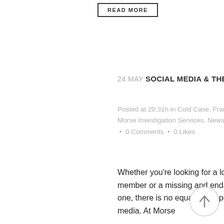READ MORE
24 MAY SOCIAL MEDIA & THE LOST/MISSING
Posted at 20:31h in Cold Case, Fraud, Have You Seen Me, Morse Investigation Services, News by Kimberly Williamson • 0 Comments • 0 Likes
Whether you're looking for a long lost family member or a missing and endangered loved one, there is no equal to the power of social media. At Morse